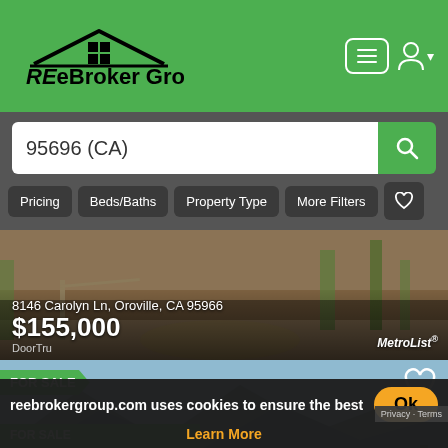REeBroker Group
95696 (CA)
Pricing | Beds/Baths | Property Type | More Filters
[Figure (photo): Property listing photo for 8146 Carolyn Ln, Oroville, CA 95966 priced at $155,000, showing a dirt road through wooded area with MetroList watermark]
[Figure (photo): Property listing photo for 6287 Jack Hill Dr, Oroville, CA 95966 priced at $32,000, FOR SALE badge, showing mountain lake reservoir view]
reebrokergroup.com uses cookies to ensure the best experi
Learn More
[Figure (photo): Partial view of another FOR SALE listing at bottom of page]